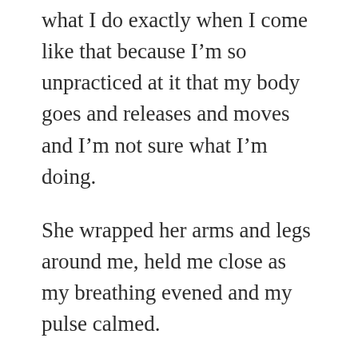what I do exactly when I come like that because I'm so unpracticed at it that my body goes and releases and moves and I'm not sure what I'm doing.
She wrapped her arms and legs around me, held me close as my breathing evened and my pulse calmed.
I pulled back, “It’s a thousand degrees in here!” I still had all my clothes on. “Will you – can you –” she unbuttoned my white work shirt and I pulled back farther to slip it off, then stood up entirely to take my